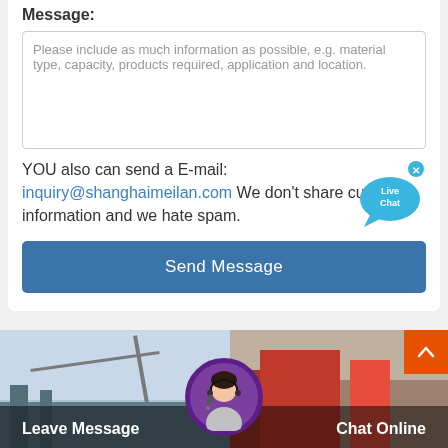Message:
Please include as much information as possible, e.g. material type, capacity, products required, application and location.
YOU also can send a E-mail:
inquiry@shanghaimeilan.com We don't share customer information and we hate spam.
[Figure (illustration): Live Chat speech bubble icon with 'Live Chat' text and an X close button]
Send Message
[Figure (photo): Bottom banner with two industrial/construction site photos, a customer service avatar, Leave Message and Chat Online labels, and a back-to-top orange button]